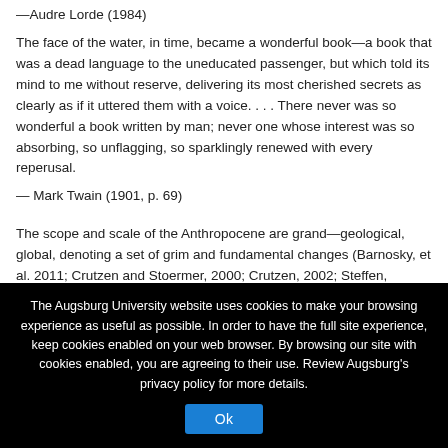—Audre Lorde (1984)
The face of the water, in time, became a wonderful book—a book that was a dead language to the uneducated passenger, but which told its mind to me without reserve, delivering its most cherished secrets as clearly as if it uttered them with a voice. . . . There never was so wonderful a book written by man; never one whose interest was so absorbing, so unflagging, so sparklingly renewed with every reperusal.
— Mark Twain (1901, p. 69)
The scope and scale of the Anthropocene are grand—geological, global, denoting a set of grim and fundamental changes (Barnosky, et al. 2011; Crutzen and Stoermer, 2000; Crutzen, 2002; Steffen, ...
The Augsburg University website uses cookies to make your browsing experience as useful as possible. In order to have the full site experience, keep cookies enabled on your web browser. By browsing our site with cookies enabled, you are agreeing to their use. Review Augsburg's privacy policy for more details.